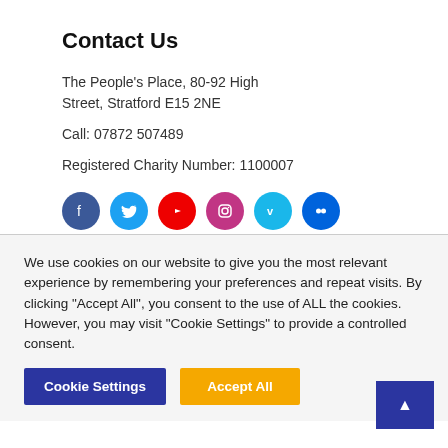Contact Us
The People's Place, 80-92 High Street, Stratford E15 2NE
Call: 07872 507489
Registered Charity Number: 1100007
[Figure (infographic): Six social media icon circles: Facebook (dark blue), Twitter (light blue), YouTube (red), Instagram (pink/magenta), Vimeo (cyan), Flickr (dark blue)]
We use cookies on our website to give you the most relevant experience by remembering your preferences and repeat visits. By clicking "Accept All", you consent to the use of ALL the cookies. However, you may visit "Cookie Settings" to provide a controlled consent.
Cookie Settings
Accept All